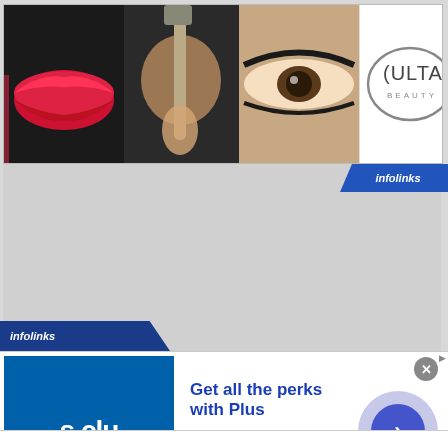[Figure (infographic): Ulta Beauty banner advertisement with makeup imagery (lips, brush, eyes), Ulta Beauty logo in center, close-up eyes photo, and SHOP NOW call-to-action button on white background with close icon]
[Figure (logo): infolinks badge top right corner, blue diagonal shape with white italic text]
[Figure (logo): infolinks badge bottom left corner, dark blue diagonal shape with white italic text]
[Figure (infographic): Sam's Club advertisement - blue square logo with 's clu' text visible, headline 'Get all the perks with Plus', body text 'Free Shipping. Every day at SamsClub.com. Exclusions apply.', URL www.samsclub.com, blue circle arrow button on right, close X button, small ads label]